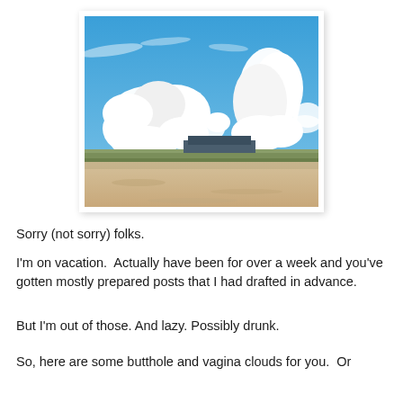[Figure (photo): Beach scene with blue sky and large white cumulus clouds above sand dunes and a building in the background]
Sorry (not sorry) folks.
I'm on vacation.  Actually have been for over a week and you've gotten mostly prepared posts that I had drafted in advance.
But I'm out of those. And lazy. Possibly drunk.
So, here are some butthole and vagina clouds for you.  Or